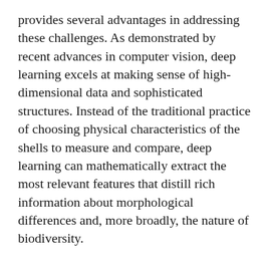provides several advantages in addressing these challenges. As demonstrated by recent advances in computer vision, deep learning excels at making sense of high-dimensional data and sophisticated structures. Instead of the traditional practice of choosing physical characteristics of the shells to measure and compare, deep learning can mathematically extract the most relevant features that distill rich information about morphological differences and, more broadly, the nature of biodiversity.
“These shells have many geometric features that don’t exist in primate shape data, which tend to be more smooth and relatively easier to handle,” Gao said. “Shells, unlike bones or teeth, are not covered by soft tissue; instead, they are directly exposed to